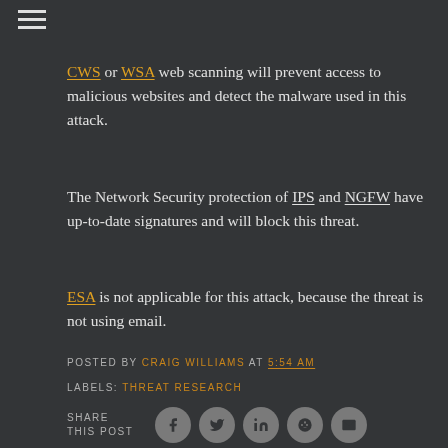CWS or WSA web scanning will prevent access to malicious websites and detect the malware used in this attack.
The Network Security protection of IPS and NGFW have up-to-date signatures and will block this threat.
ESA is not applicable for this attack, because the threat is not using email.
POSTED BY CRAIG WILLIAMS AT 5:54 AM
LABELS: THREAT RESEARCH
SHARE THIS POST